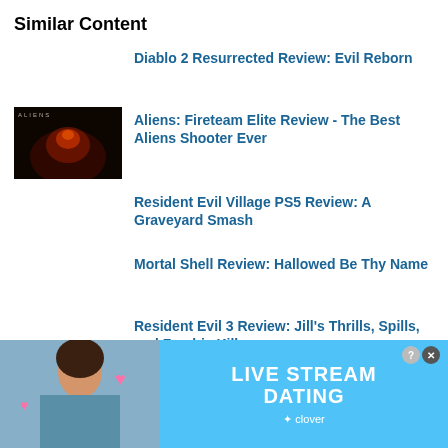Similar Content
Diablo 2 Resurrected Review: Evil Reborn
Aliens: Fireteam Elite Review - The Best Aliens Shooter Ever
Resident Evil Village PS5 Review: A Graveyard Smash
Mortal Shell Review: Hallowed Be Thy Name
Resident Evil 3 Review: Jill's Thrills, Spills, and Zombie Kills
Control Review: Remedy Unleashed
[Figure (photo): Advertisement overlay: Live Stream Dating app ad with woman photo and clover logo on blue background]